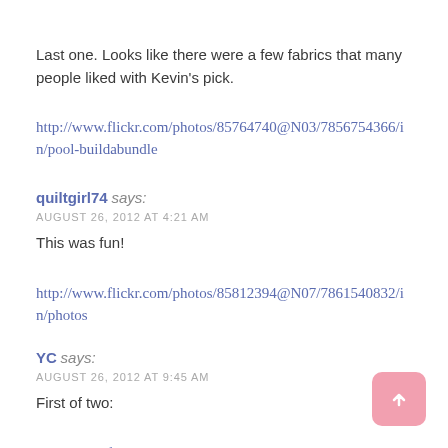Last one. Looks like there were a few fabrics that many people liked with Kevin's pick.
http://www.flickr.com/photos/85764740@N03/7856754366/in/pool-buildabundle
quiltgirl74 says:
AUGUST 26, 2012 AT 4:21 AM
This was fun!
http://www.flickr.com/photos/85812394@N07/7861540832/in/photos
YC says:
AUGUST 26, 2012 AT 9:45 AM
First of two:
http://www.flickr.com/photos/kirianth/7856238982/in/pool-buildabundle
YC says:
AUGUST 26, 2012 AT (partially cut off)